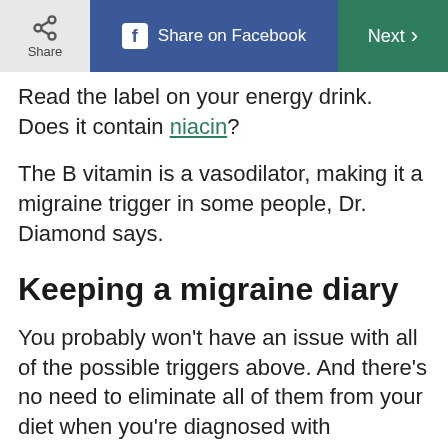Share | Share on Facebook | Next
Read the label on your energy drink. Does it contain niacin?
The B vitamin is a vasodilator, making it a migraine trigger in some people, Dr. Diamond says.
Keeping a migraine diary
You probably won’t have an issue with all of the possible triggers above. And there’s no need to eliminate all of them from your diet when you’re diagnosed with migraines, Dr. Diamond says.
Instead, use a headache diary to record the foods you eat and the migraines